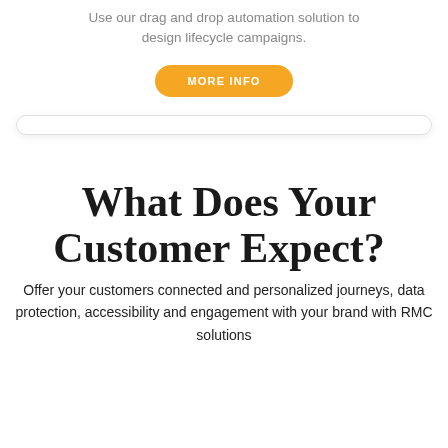Use our drag and drop automation solution to design lifecycle campaigns.
[Figure (other): Orange 'MORE INFO' button]
What Does Your Customer Expect?
Offer your customers connected and personalized journeys, data protection, accessibility and engagement with your brand with RMC solutions